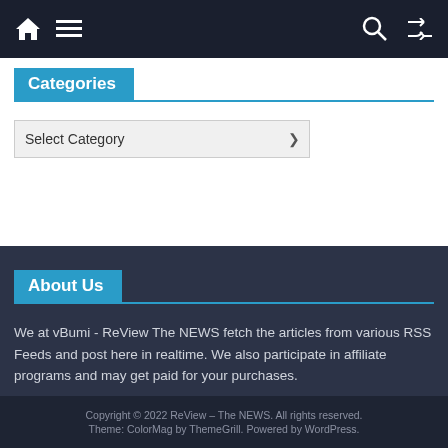Navigation bar with home, menu, search, and shuffle icons
Categories
Select Category
About Us
We at vBumi - ReView The NEWS fetch the articles from various RSS Feeds and post here in realtime. We also participate in affiliate programs and may get paid for your purchases.
Copyright © 2022 ReView – The NEWS. All rights reserved. Theme: ColorMag by ThemeGrill. Powered by WordPress.